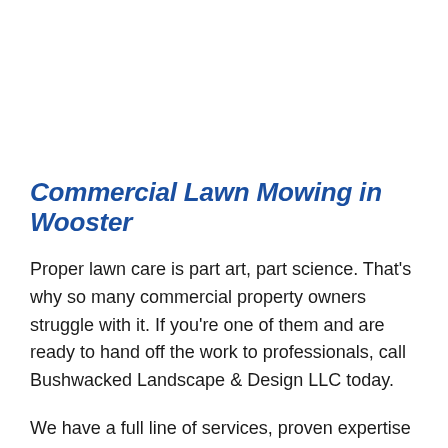Commercial Lawn Mowing in Wooster
Proper lawn care is part art, part science. That's why so many commercial property owners struggle with it. If you're one of them and are ready to hand off the work to professionals, call Bushwacked Landscape & Design LLC today.
We have a full line of services, proven expertise and proprietary equipment to help you overcome your biggest commercial lawn care challenges. Whether you're facing